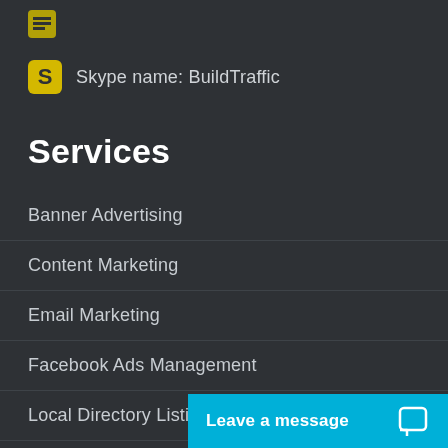[Figure (logo): Small yellow square icon at top left]
Skype name: BuildTraffic
Services
Banner Advertising
Content Marketing
Email Marketing
Facebook Ads Management
Local Directory Listings
Pay Per Click Management
Pay Per View Ads
Leave a message